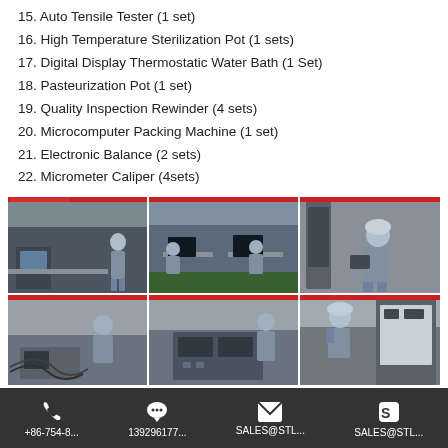15. Auto Tensile Tester (1 set)
16. High Temperature Sterilization Pot (1 sets)
17. Digital Display Thermostatic Water Bath (1 Set)
18. Pasteurization Pot (1 set)
19. Quality Inspection Rewinder (4 sets)
20. Microcomputer Packing Machine (1 set)
21. Electronic Balance (2 sets)
22. Micrometer Caliper (4sets)
[Figure (photo): Six photos in a 3x2 grid showing laboratory/factory workers in blue uniforms and hairnets operating testing equipment in a clean room environment]
+86-754-8...   139296177...   SALES@STL...   SALES@STL...